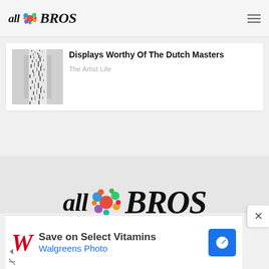[Figure (logo): allBROS logo small in navigation bar with colorful bubble graphic between 'all' and 'BROS']
Displays Worthy Of The Dutch Masters
The Artist Life
[Figure (photo): Thumbnail image of an art installation with black and white vertical display]
[Figure (logo): allBROS large centered logo with colorful bubble graphic]
[Figure (screenshot): Advertisement banner: Walgreens - Save on Select Vitamins, Walgreens Photo]
Save on Select Vitamins
Walgreens Photo